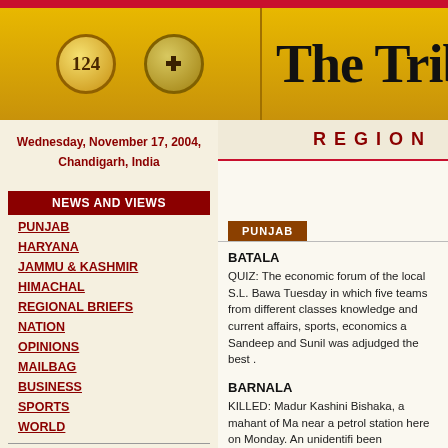The Tribune — Wednesday, November 17, 2004, Chandigarh, India
REGION
NEWS AND VIEWS
PUNJAB
HARYANA
JAMMU & KASHMIR
HIMACHAL
REGIONAL BRIEFS
NATION
OPINIONS
MAILBAG
BUSINESS
SPORTS
WORLD
SPECIAL COVERAGE
CHANDIGARH
PUNJAB
BATALA
QUIZ: The economic forum of the local S.L. Bawa... Tuesday in which five teams from different classes... knowledge and current affairs, sports, economics a... Sandeep and Sunil was adjudged the best .
BARNALA
KILLED: Madur Kashini Bishaka, a mahant of Ma... near a petrol station here on Monday. An unidentifi... been registered.
STOLEN: Articles worth Rs 1 lakh have been stole... owner of the store, said four mobile phones, prepai...